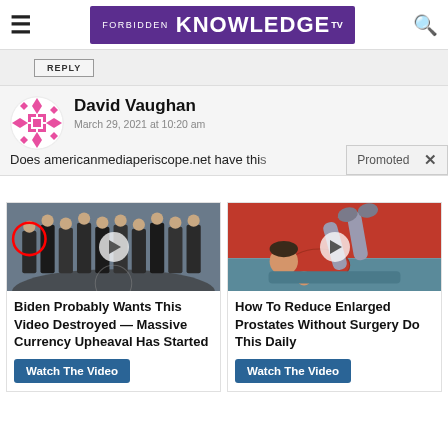FORBIDDEN KNOWLEDGE TV
REPLY
David Vaughan
March 29, 2021 at 10:20 am
Does americanmediaperiscope.net have this
Promoted ×
[Figure (screenshot): Thumbnail of group of people standing in front of CIA seal floor, man circled in red on the left]
Biden Probably Wants This Video Destroyed — Massive Currency Upheaval Has Started
Watch The Video
[Figure (illustration): Cartoon illustration of a person lying on their back doing an exercise, legs raised]
How To Reduce Enlarged Prostates Without Surgery Do This Daily
Watch The Video